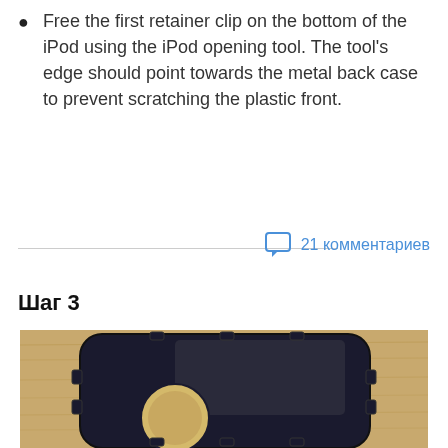Free the first retainer clip on the bottom of the iPod using the iPod opening tool. The tool's edge should point towards the metal back case to prevent scratching the plastic front.
21 комментариев
Шаг 3
[Figure (photo): Photo of a black iPod plastic front case/frame lying on a wooden surface, showing the rectangular frame with retainer clips and a circular cutout for the click wheel.]